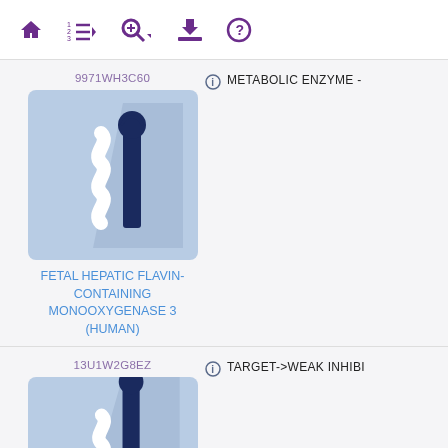[Figure (screenshot): Navigation toolbar with home, list, search, download, and help icons in purple]
9971WH3C60
[Figure (illustration): Blue-purple square icon showing a stylized enzyme graphic with a white wavy coil and dark blue upward arrow with round top, on light blue background]
FETAL HEPATIC FLAVIN-CONTAINING MONOOXYGENASE 3 (HUMAN)
METABOLIC ENZYME -
13U1W2G8EZ
[Figure (illustration): Blue-purple square icon showing a similar stylized enzyme graphic with a white wavy coil and dark blue upward arrow, partially visible]
TARGET->WEAK INHIBI